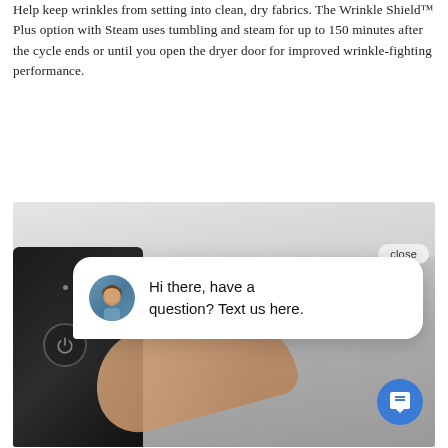Help keep wrinkles from setting into clean, dry fabrics. The Wrinkle Shield™ Plus option with Steam uses tumbling and steam for up to 150 minutes after the cycle ends or until you open the dryer door for improved wrinkle-fighting performance.
[Figure (photo): Photo of a dryer control panel being operated by a hand, with a chat popup overlay showing a woman avatar and the message 'Hi there, have a question? Text us here.' and a close button and blue chat FAB button.]